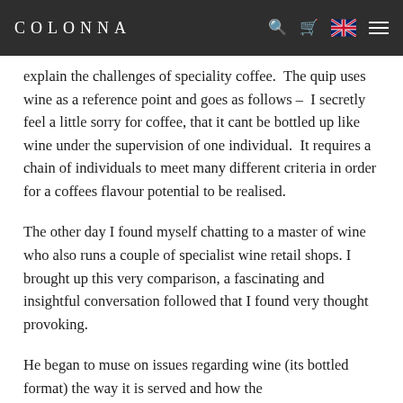COLONNA
explain the challenges of speciality coffee.  The quip uses wine as a reference point and goes as follows –  I secretly feel a little sorry for coffee, that it cant be bottled up like wine under the supervision of one individual.  It requires a chain of individuals to meet many different criteria in order for a coffees flavour potential to be realised.
The other day I found myself chatting to a master of wine who also runs a couple of specialist wine retail shops. I brought up this very comparison, a fascinating and insightful conversation followed that I found very thought provoking.
He began to muse on issues regarding wine (its bottled format) the way it is served and how the